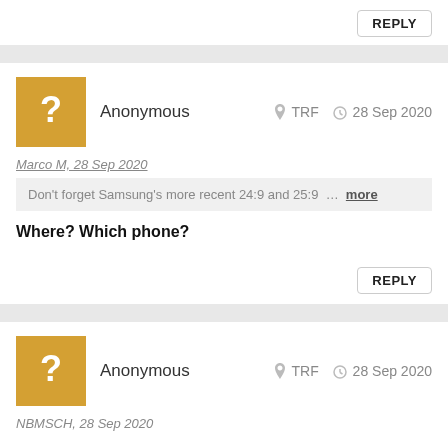REPLY
Anonymous   TRF   28 Sep 2020
Marco M, 28 Sep 2020
Don't forget Samsung's more recent 24:9 and 25:9 ... more
Where? Which phone?
REPLY
Anonymous   TRF   28 Sep 2020
NBMSCH, 28 Sep 2020